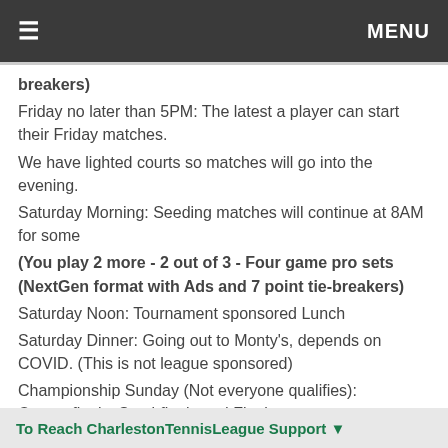≡   MENU
breakers)
Friday no later than 5PM: The latest a player can start their Friday matches.
We have lighted courts so matches will go into the evening.
Saturday Morning: Seeding matches will continue at 8AM for some
(You play 2 more - 2 out of 3 - Four game pro sets (NextGen format with Ads and 7 point tie-breakers)
Saturday Noon: Tournament sponsored Lunch
Saturday Dinner: Going out to Monty's, depends on COVID. (This is not league sponsored)
Championship Sunday (Not everyone qualifies): Quarterfinals, Semi-finals and Finals
To Reach CharlestonTennisLeague Support ▼